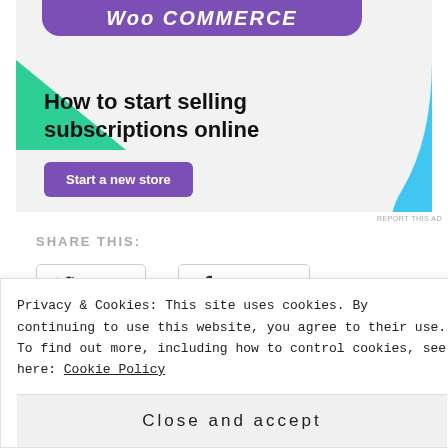[Figure (illustration): WooCommerce advertisement banner with purple header, green triangle shape, blue curved shape, bold text 'How to start selling subscriptions online', and a purple 'Start a new store' button on a light grey background.]
REPORT THIS AD
SHARE THIS:
Twitter
Facebook
Privacy & Cookies: This site uses cookies. By continuing to use this website, you agree to their use.
To find out more, including how to control cookies, see here: Cookie Policy
Close and accept